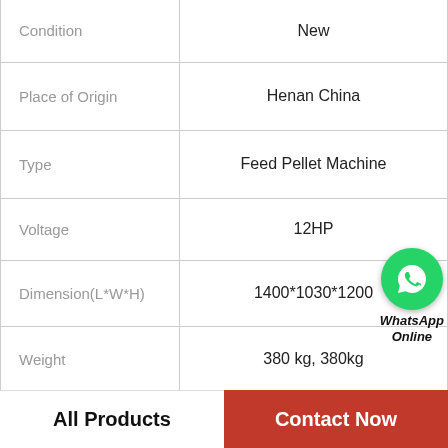| Attribute | Value |
| --- | --- |
| Condition | New |
| Place of Origin | Henan China |
| Type | Feed Pellet Machine |
| Voltage | 12HP |
| Dimension(L*W*H) | 1400*1030*1200 |
| Weight | 380 kg, 380kg |
| Warranty | 1 Year |
| Key Selling Points | Easy to Operate |
|  |  |
[Figure (logo): WhatsApp Online button with green phone icon and italic bold text 'WhatsApp Online']
All Products | Contact Now